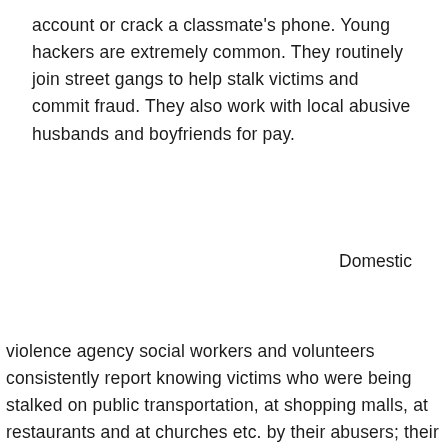account or crack a classmate's phone. Young hackers are extremely common. They routinely join street gangs to help stalk victims and commit fraud. They also work with local abusive husbands and boyfriends for pay.
Domestic
violence agency social workers and volunteers consistently report knowing victims who were being stalked on public transportation, at shopping malls, at restaurants and at churches etc. by their abusers; their abuser's friends or their abuser's fellow street gang members.